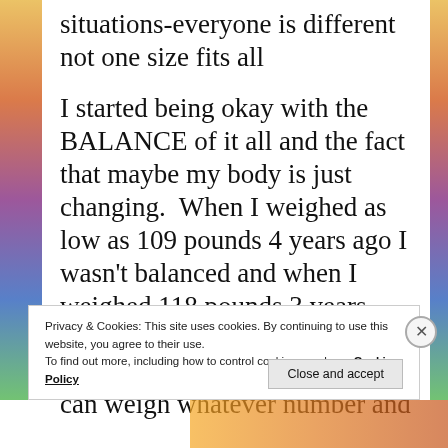situations-everyone is different not one size fits all
I started being okay with the BALANCE of it all and the fact that maybe my body is just changing.  When I weighed as low as 109 pounds 4 years ago I wasn't balanced and when I weighed 118 pounds 3 years ago I also wasn't truly happy or balanced...I realize now that I can weigh whatever number and
Privacy & Cookies: This site uses cookies. By continuing to use this website, you agree to their use.
To find out more, including how to control cookies, see here: Cookie Policy
Close and accept